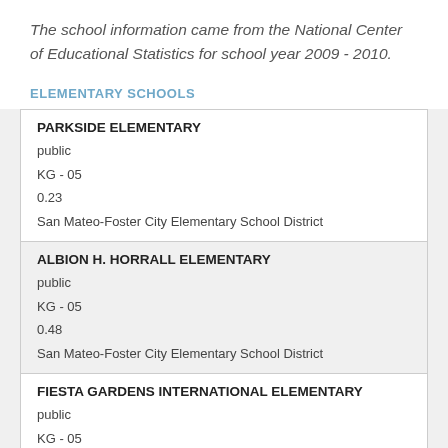The school information came from the National Center of Educational Statistics for school year 2009 - 2010.
ELEMENTARY SCHOOLS
| PARKSIDE ELEMENTARY | public | KG - 05 | 0.23 | San Mateo-Foster City Elementary School District |
| ALBION H. HORRALL ELEMENTARY | public | KG - 05 | 0.48 | San Mateo-Foster City Elementary School District |
| FIESTA GARDENS INTERNATIONAL ELEMENTARY | public | KG - 05 | 0.92 |  |